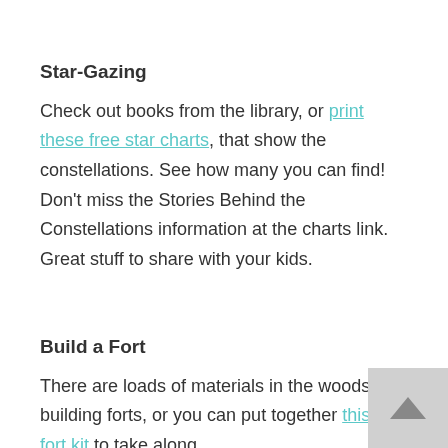Star-Gazing
Check out books from the library, or print these free star charts, that show the constellations. See how many you can find! Don't miss the Stories Behind the Constellations information at the charts link. Great stuff to share with your kids.
Build a Fort
There are loads of materials in the woods for building forts, or you can put together this DIY fort kit to take along.